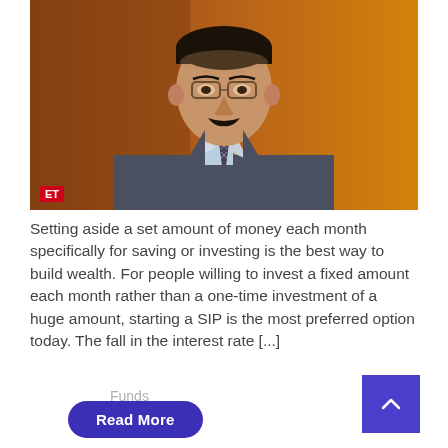[Figure (photo): Portrait photo of a middle-aged Indian man in a grey suit and patterned tie, wearing glasses, against an orange-brown gradient background. ET logo badge in bottom-left corner.]
Setting aside a set amount of money each month specifically for saving or investing is the best way to build wealth. For people willing to invest a fixed amount each month rather than a one-time investment of a huge amount, starting a SIP is the most preferred option today. The fall in the interest rate [...]
Funds
Read More